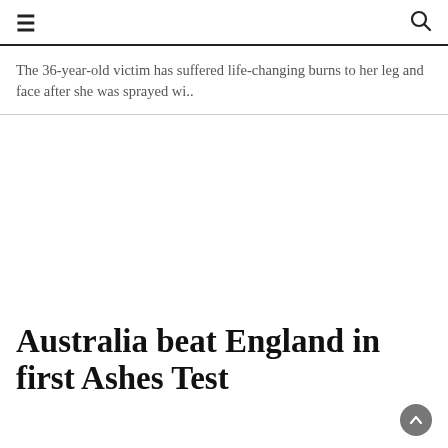≡  🔍
The 36-year-old victim has suffered life-changing burns to her leg and face after she was sprayed wi..
[Figure (photo): Large image placeholder area (white/blank)]
Australia beat England in first Ashes Test